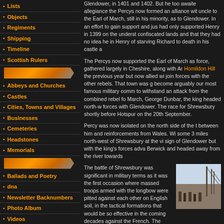Lists
Objects
Regiments
Shipping
Timeline
Scottish Rulers
Abbeys and Churches
Castles
Cities, Towns and Villages
Businesses
Cemeteries
Headstones
Memorials
Ballads and Poetry
dna
Newsletter Backnumbers
Photo Album
Videos
Connections
Corrections
Contributions
Tell-a-Friend
Commercial links
Glendower, in 1401 and 1402. But he too awaited allegiance the Percys now formed an alliance wi uncle to the Earl of March, still in his minority, as to Glendower. In an effort to gain support and jus had only supported Henry in 1399 on the underst confiscated lands and that they had no idea he in Henry of starving Richard to death in his castle a
The Percys now supported the Earl of March as force, gathered largely in Cheshire, along with Ar Homildon Hill the previous year but now allied wi join forces with the other rebels. That town was g become arguably our most famous military comm to withstand an attack from the combined rebel fo March, George Dunbar, the king headed north-w forces with Glendower. The race for Shrewsbury shortly before Hotspur on the 20th September.
Percy was now isolated on the north side of the t between him and reinforcements from Wales. Wi some 3 miles north-west of Shrewsbury at the vi sign of Glendower but with the king's forces adva Berwick and headed away from the river towards
The battle of Shrewsbury was significant in military terms as it was the first occasion where massed troops armed with the longbow were pitted against each other on English soil, in the tactical formations that would be so effective in the coming decades against the French. The effectiveness of this tactical use of
[Figure (photo): Partial image of a historical battle scene or illustration at bottom right of page]